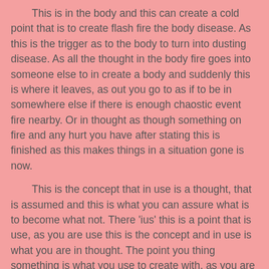This is in the body and this can create a cold point that is to create flash fire the body disease. As this is the trigger as to the body to turn into dusting disease. As all the thought in the body fire goes into someone else to in create a body and suddenly this is where it leaves, as out you go to as if to be in somewhere else if there is enough chaostic event fire nearby. Or in thought as though something on fire and any hurt you have after stating this is finished as this makes things in a situation gone is now.
This is the concept that in use is a thought, that is assumed and this is what you can assure what is to become what not. There 'ius' this is a point that is use, as you are use this is the concept and in use is what you are in thought. The point you thing something is what you use to create with, as you are with the energy and you think to use the motion to throw you ca get things to go with. As thought is what is useable you use their will, as a director and your use is their idea in thought. As you are what others may think, you do your own thing and assume the worst or best as think you will as you will and as you won't afterward. As after the event you forget about the thing that bothers you, you can use